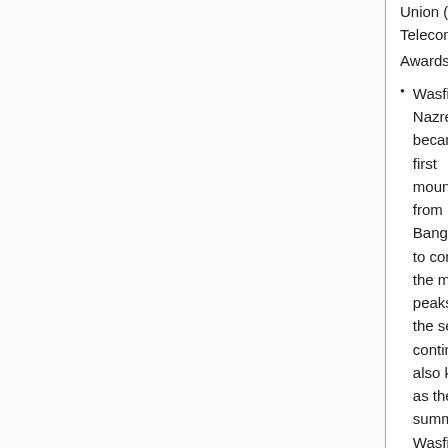Union (ITU) Telecom World Awards.[82]
Wasfia Nazreen became the first mountaineer from Bangladesh to conquer the mountain peaks of all the seven continents, also known as the seven summits. Wasfia reached the summit of Carstensz Pyramid, the highest mountain of Oceania, on 18 November 2015 completing the challenge of scaling seven highest mountains around the world.
BRAC founder Sir Fazle Hasan Abed won the 2014 Trust Women Award for his innovative approach to protect women's rights in impoverished communities. Abed is the first male recipient of the award.
November 19